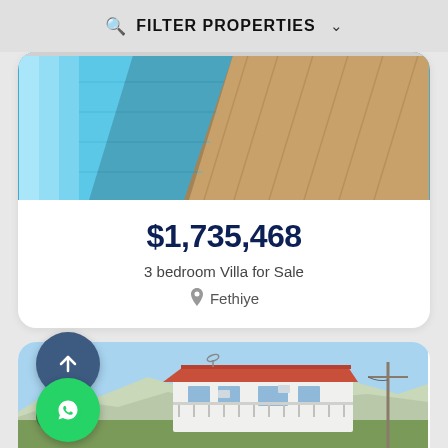FILTER PROPERTIES
[Figure (photo): Swimming pool with blue water and wooden deck surround, aerial/side view]
$1,735,468
3 bedroom Villa for Sale
Fethiye
[Figure (photo): White two-story villa with red-tiled roof, satellite dish, air conditioning units, balcony with railing, surrounded by green landscape and mountains in background under clear blue sky]